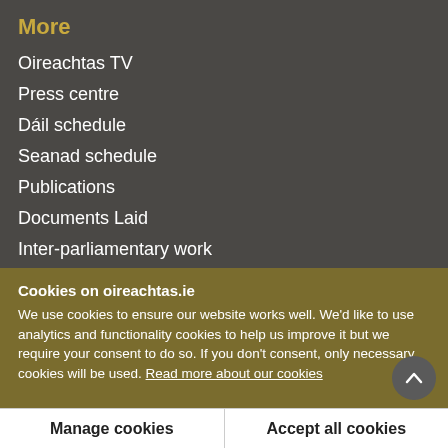More
Oireachtas TV
Press centre
Dáil schedule
Seanad schedule
Publications
Documents Laid
Inter-parliamentary work
Freedom of information
Cookies on oireachtas.ie
We use cookies to ensure our website works well. We'd like to use analytics and functionality cookies to help us improve it but we require your consent to do so. If you don't consent, only necessary cookies will be used. Read more about our cookies
Manage cookies
Accept all cookies